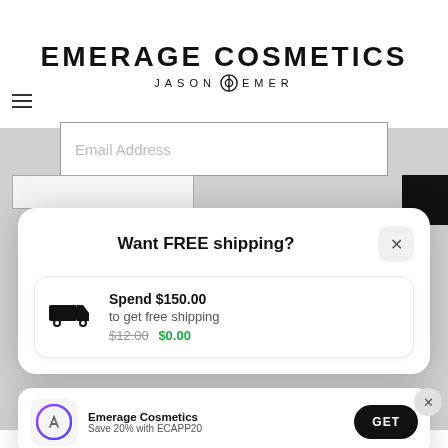[Figure (screenshot): Emerage Cosmetics website header with brand logo showing 'EMERAGE COSMETICS / JASON EMER' and an email address input field]
Want FREE shipping?
Spend $150.00 to get free shipping $12.00 $0.00
By entering your phone number and submitting this form, you consent to
Emerage Cosmetics Save 20% with ECAPP20
unsubscribe link (where available) in one of our mes